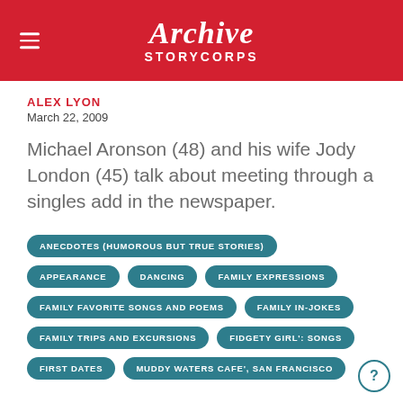Archive STORYCORPS
ALEX LYON
March 22, 2009
Michael Aronson (48) and his wife Jody London (45) talk about meeting through a singles add in the newspaper.
ANECDOTES (HUMOROUS BUT TRUE STORIES)
APPEARANCE
DANCING
FAMILY EXPRESSIONS
FAMILY FAVORITE SONGS AND POEMS
FAMILY IN-JOKES
FAMILY TRIPS AND EXCURSIONS
FIDGETY GIRL': SONGS
FIRST DATES
MUDDY WATERS CAFE', SAN FRANCISCO